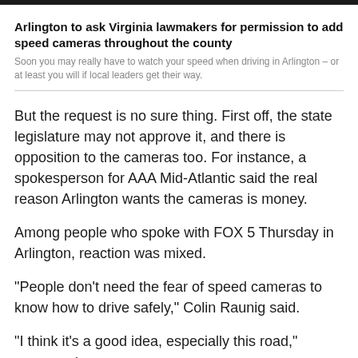Arlington to ask Virginia lawmakers for permission to add speed cameras throughout the county
Soon you may really have to watch your speed when driving in Arlington – or at least you will if local leaders get their way.
But the request is no sure thing. First off, the state legislature may not approve it, and there is opposition to the cameras too. For instance, a spokesperson for AAA Mid-Atlantic said the real reason Arlington wants the cameras is money.
Among people who spoke with FOX 5 Thursday in Arlington, reaction was mixed.
"People don't need the fear of speed cameras to know how to drive safely," Colin Raunig said.
"I think it's a good idea, especially this road," countered